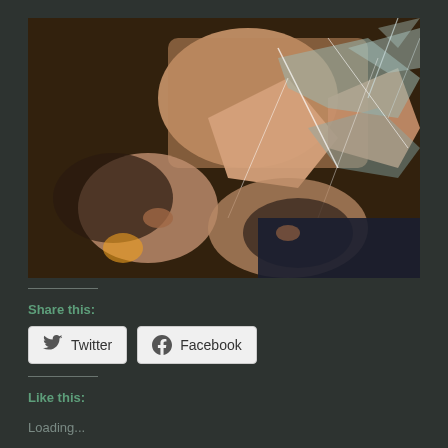[Figure (photo): A person holding up broken mirror shards, with multiple reflections of faces visible in the broken pieces. The image has a dramatic, artistic quality with fragments showing different angles of faces and hands against a dark background.]
Share this:
Twitter
Facebook
Like this:
Loading...